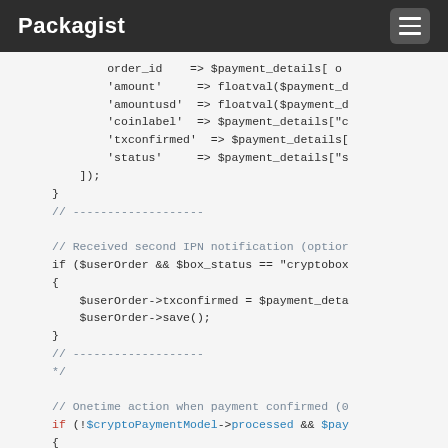Packagist
Code block showing PHP payment processing code with IPN notification handling and crypto payment model processing.